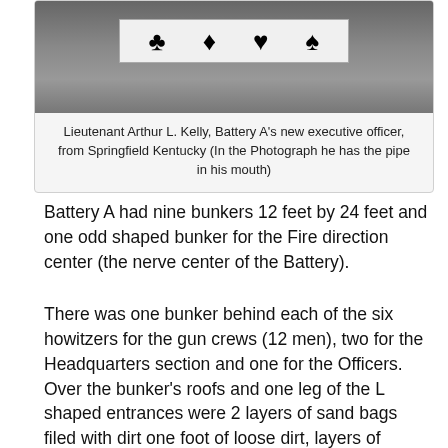[Figure (photo): Black and white photograph of Lieutenant Arthur L. Kelly showing a banner/sign with card suit symbols (club, diamond, heart, spade). He has a pipe in his mouth.]
Lieutenant Arthur L. Kelly, Battery A's new executive officer, from Springfield Kentucky (In the Photograph he has the pipe in his mouth)
Battery A had nine bunkers 12 feet by 24 feet and one odd shaped bunker for the Fire direction center (the nerve center of the Battery).
There was one bunker behind each of the six howitzers for the gun crews (12 men), two for the Headquarters section and one for the Officers. Over the bunker's roofs and one leg of the L shaped entrances were 2 layers of sand bags filed with dirt one foot of loose dirt, layers of rocks, to stop enemy artillery rounds with a delayed fuse, and then more dirt. Unlike the other two sets of bunkers these bunkers were water proofed and drained with a